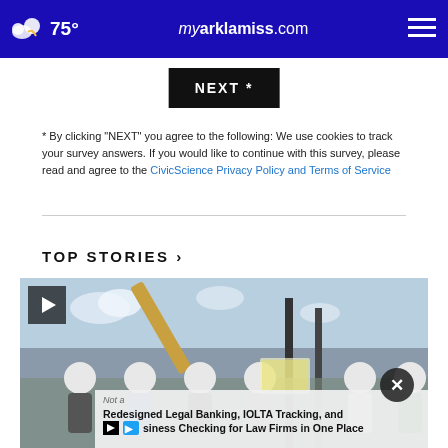75° myarklamiss.com
[Figure (screenshot): NEXT * button in black background]
* By clicking "NEXT" you agree to the following: We use cookies to track your survey answers. If you would like to continue with this survey, please read and agree to the CivicScience Privacy Policy and Terms of Service
TOP STORIES ›
[Figure (photo): Video thumbnail of people in hard hats at a construction groundbreaking ceremony with a crane in background. Has a play button overlay and an ad overlay at the bottom reading 'Nota - Redesigned Legal Banking, IOLTA Tracking, and Business Checking for Law Firms in One Place'.]